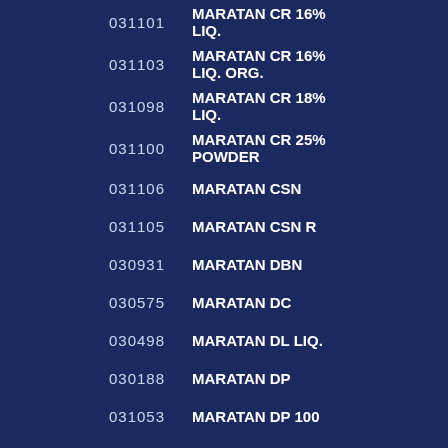031101 MARATAN CR 16% LIQ.
031103 MARATAN CR 16% LIQ. ORG.
031098 MARATAN CR 18% LIQ.
031100 MARATAN CR 25% POWDER
031106 MARATAN CSN
031105 MARATAN CSN R
030931 MARATAN DBN
030575 MARATAN DC
030498 MARATAN DL LIQ.
030188 MARATAN DP
031053 MARATAN DP 100